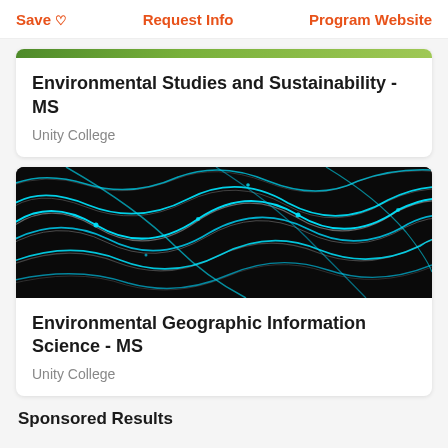Save ♡   Request Info   Program Website
Environmental Studies and Sustainability - MS
Unity College
[Figure (photo): Abstract topographic map visualization with glowing cyan/blue contour lines on a black background]
Environmental Geographic Information Science - MS
Unity College
Sponsored Results